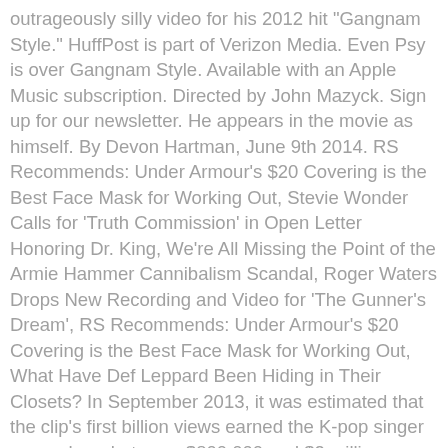outrageously silly video for his 2012 hit "Gangnam Style." HuffPost is part of Verizon Media. Even Psy is over Gangnam Style. Available with an Apple Music subscription. Directed by John Mazyck. Sign up for our newsletter. He appears in the movie as himself. By Devon Hartman, June 9th 2014. RS Recommends: Under Armour's $20 Covering is the Best Face Mask for Working Out, Stevie Wonder Calls for 'Truth Commission' in Open Letter Honoring Dr. King, We're All Missing the Point of the Armie Hammer Cannibalism Scandal, Roger Waters Drops New Recording and Video for 'The Gunner's Dream', RS Recommends: Under Armour's $20 Covering is the Best Face Mask for Working Out, What Have Def Leppard Been Hiding in Their Closets? In September 2013, it was estimated that the clip's first billion views earned the K-pop singer somewhere between $800,000 and $2 million, money that buys a lot of shots. Psy?s new video Hangover, featuring Snoop Dogg, has already crossed 24 million views on YouTube. Psy and Snoop Dogg collaborated